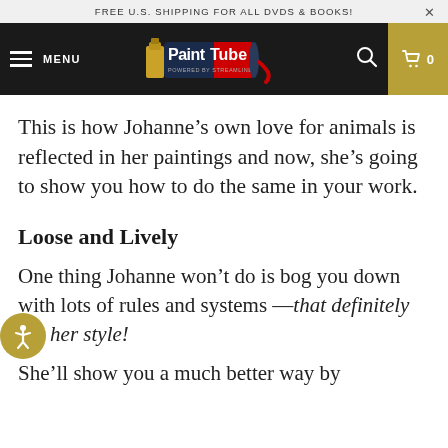FREE U.S. SHIPPING FOR ALL DVDS & BOOKS!
[Figure (logo): PaintTube logo - paint tube graphic with 'PaintTube' text, 'POWERED BY STREAMLINE' subtitle, on dark background]
This is how Johanne's own love for animals is reflected in her paintings and now, she's going to show you how to do the same in your work.
Loose and Lively
One thing Johanne won't do is bog you down with lots of rules and systems —that definitely not her style!
She'll show you a much better way by